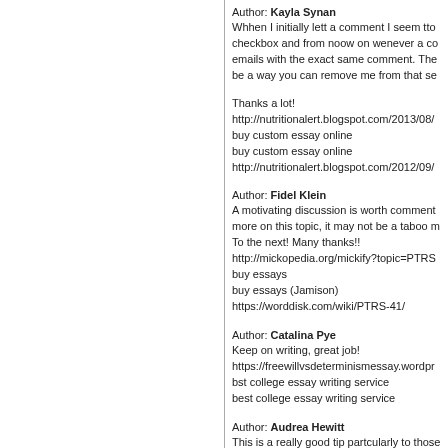Author: Kayla Synan
Whhen I initially lett a comment I seem tto checkbox and from noow on wenever a co emails with the exact same comment. The be a way you can remove me from that se

Thanks a lot!
http://nutritionalert.blogspot.com/2013/08/
buy custom essay online
buy custom essay online
http://nutritionalert.blogspot.com/2012/09/
Author: Fidel Klein
A motivating discussion is worth comment more on this topic, it may not be a taboo m To the next! Many thanks!!
http://mickopedia.org/mickify?topic=PTRS buy essays
buy essays (Jamison)
https://worddisk.com/wiki/PTRS-41/
Author: Catalina Pye
Keep on writing, great job!
https://freewillvsdeterminismessay.wordpre bst college essay writing service
best college essay writing service
Author: Audrea Hewitt
This is a really good tip partcularly to those Simple butt very accurate info_ Thanks for sharing this one. A must read post!
http://es.knowledger.de/0059224/RandySh custom essay writing service reviews